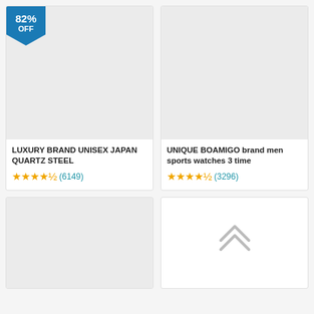[Figure (photo): Product image placeholder for luxury watch (gray rectangle), with 82% OFF badge]
LUXURY BRAND UNISEX JAPAN QUARTZ STEEL
★★★★½ (6149)
[Figure (photo): Product image placeholder for BOAMIGO watch (gray rectangle)]
UNIQUE BOAMIGO brand men sports watches 3 time
★★★★½ (3296)
[Figure (photo): Product image placeholder (partial, bottom-left card, gray rectangle)]
[Figure (other): Back to top chevron arrow button (double up arrow)]